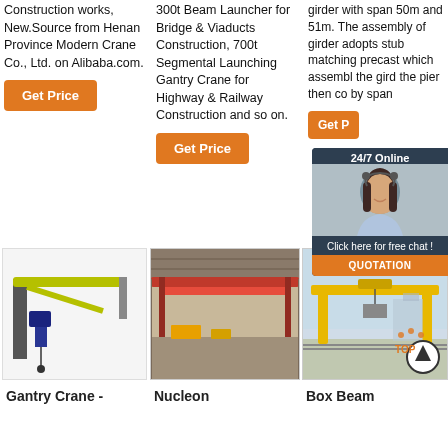Construction works, New.Source from Henan Province Modern Crane Co., Ltd. on Alibaba.com.
Get Price
300t Beam Launcher for Bridge & Viaducts Construction, 700t Segmental Launching Gantry Crane for Highway & Railway Construction and so on.
Get Price
girder with span 50m and 51m. The assembly of girder adopts stub matching precast which assembles the girder on the pier location, then connects span by span.
Get Price
[Figure (photo): Jib wall-mounted crane with yellow arm and blue electric hoist]
[Figure (photo): Overhead bridge crane in industrial warehouse with red beams]
[Figure (photo): Yellow gantry crane outdoors]
[Figure (screenshot): 24/7 Online chat widget with customer service agent photo and QUOTATION button]
Gantry Crane -
Nucleon
Box Beam